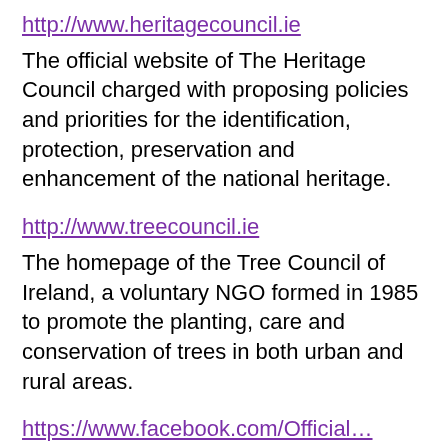http://www.heritagecouncil.ie
The official website of The Heritage Council charged with proposing policies and priorities for the identification, protection, preservation and enhancement of the national heritage.
http://www.treecouncil.ie
The homepage of the Tree Council of Ireland, a voluntary NGO formed in 1985 to promote the planting, care and conservation of trees in both urban and rural areas.
https://www.facebook.com/Official...
Official Facebook Page for the TidyTowns Unit